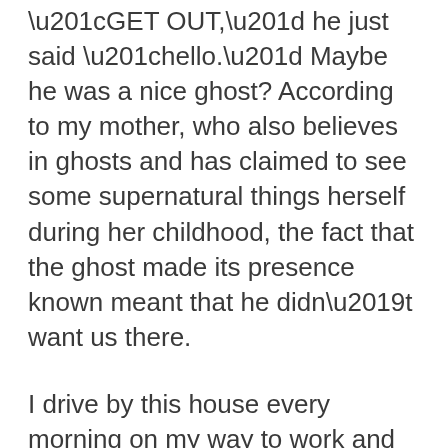“GET OUT,” he just said “hello.” Maybe he was a nice ghost? According to my mother, who also believes in ghosts and has claimed to see some supernatural things herself during her childhood, the fact that the ghost made its presence known meant that he didn’t want us there.
I drive by this house every morning on my way to work and notice that a nice family lives there now. They seem happy and not too dissimilar to my own. So now I feel insulted because the ghost doesn’t seem to be bothering them. What does the ghost have against me?  Fuck that ghost. If I bought that house I would have him exorcised